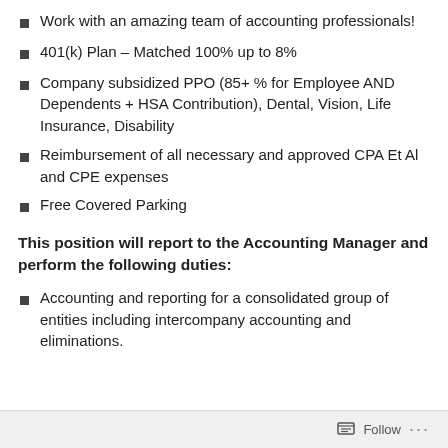Work with an amazing team of accounting professionals!
401(k) Plan – Matched 100% up to 8%
Company subsidized PPO (85+ % for Employee AND Dependents + HSA Contribution), Dental, Vision, Life Insurance, Disability
Reimbursement of all necessary and approved CPA Et Al and CPE expenses
Free Covered Parking
This position will report to the Accounting Manager and perform the following duties:
Accounting and reporting for a consolidated group of entities including intercompany accounting and eliminations.
Follow